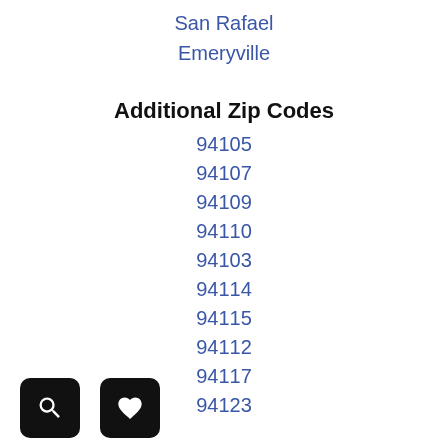San Rafael
Emeryville
Additional Zip Codes
94105
94107
94109
94110
94103
94114
94115
94112
94117
94123